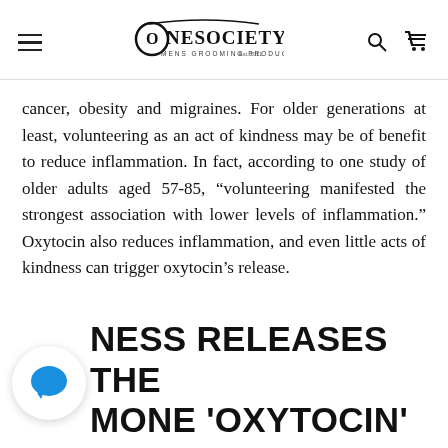OneSociety — Mens Grooming Products Est. 2011
cancer, obesity and migraines. For older generations at least, volunteering as an act of kindness may be of benefit to reduce inflammation. In fact, according to one study of older adults aged 57-85, “volunteering manifested the strongest association with lower levels of inflammation.” Oxytocin also reduces inflammation, and even little acts of kindness can trigger oxytocin’s release.
KINDNESS RELEASES THE HORMONE 'OXYTOCIN'